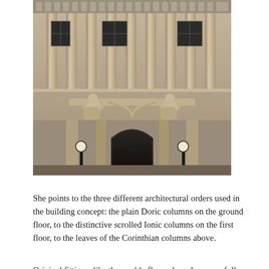[Figure (photo): Photograph of a grand neoclassical government building facade showing tall Corinthian columns, ornamental sculptures of seated figures flanking the entrance, a large arched doorway, and two globe street lamps on black posts at the entrance level.]
She points to the three different architectural orders used in the building concept: the plain Doric columns on the ground floor, to the distinctive scrolled Ionic columns on the first floor, to the leaves of the Corinthian columns above.
Original fittings, like the marble floors, have been carefully